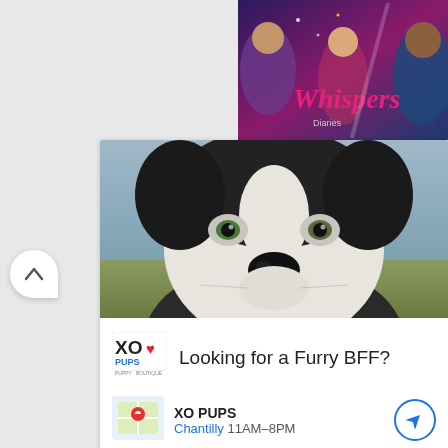[Figure (screenshot): Whispers interactive story app promotional banner showing romantic scenes]
[Figure (photo): Close-up photo of a husky/border collie dog face looking at camera]
[Figure (logo): XO PUPS logo with X and O letters and heart symbol]
Looking for a Furry BFF?
XO PUPS
Chantilly 11AM–8PM
Ads by optAd360
In-store shopping
In-store pickup
Delivery